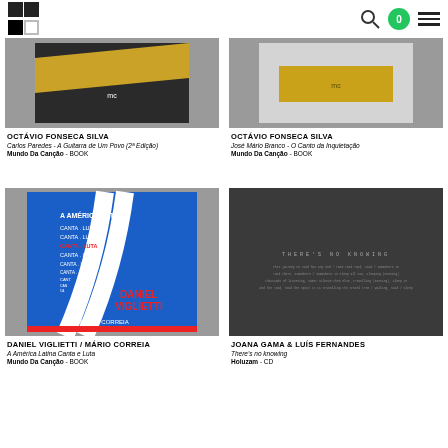Logo | Search | 0 | Menu
[Figure (photo): Book cover: dark/black with gold diagonal stripe - Carlos Paredes A Guitarra de Um Povo]
OCTÁVIO FONSECA SILVA
Carlos Paredes - A Guitarra de Um Povo (2ª Edição)
Mundo Da Canção - BOOK
[Figure (photo): Book cover: gray background with yellow/gold rectangle - José Mário Branco O Canto da Inquietação]
OCTÁVIO FONSECA SILVA
José Mário Branco - O Canto da Inquietação
Mundo Da Canção - BOOK
[Figure (photo): Book cover: blue background with white stripes and text 'A AMERICA LATINA CANTA LUTA' repeated, Daniel Viglietti, Mário Correia]
DANIEL VIGLIETTI / MÁRIO CORREIA
A América Latina Canta e Luta
Mundo Da Canção - BOOK
[Figure (photo): Dark album cover with small text - Joana Gama & Luís Fernandes - There's no knowing]
JOANA GAMA & LUÍS FERNANDES
There's no knowing
Holuzam - CD